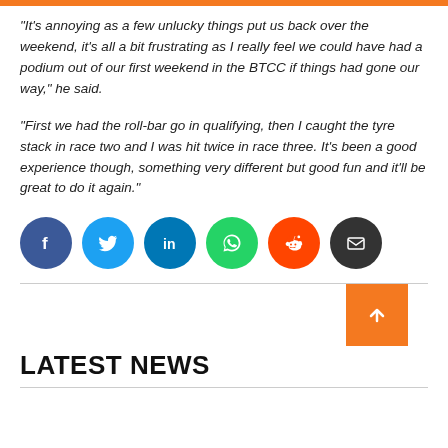“It’s annoying as a few unlucky things put us back over the weekend, it’s all a bit frustrating as I really feel we could have had a podium out of our first weekend in the BTCC if things had gone our way,” he said.
“First we had the roll-bar go in qualifying, then I caught the tyre stack in race two and I was hit twice in race three. It’s been a good experience though, something very different but good fun and it’ll be great to do it again.”
[Figure (other): Row of social media share buttons: Facebook (blue circle), Twitter (light blue circle), LinkedIn (blue circle), WhatsApp (green circle), Reddit (orange circle), Email (dark grey circle)]
LATEST NEWS